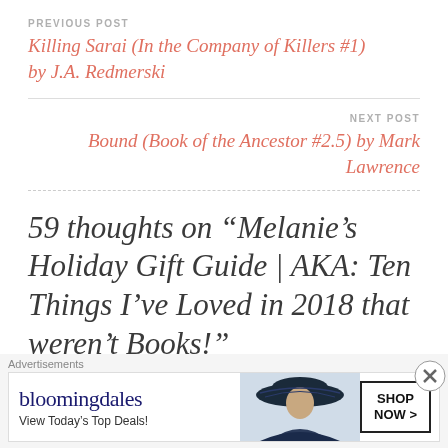PREVIOUS POST
Killing Sarai (In the Company of Killers #1) by J.A. Redmerski
NEXT POST
Bound (Book of the Ancestor #2.5) by Mark Lawrence
59 thoughts on “Melanie’s Holiday Gift Guide | AKA: Ten Things I’ve Loved in 2018 that weren’t Books!”
Shalini
[Figure (infographic): Bloomingdale's advertisement banner: logo text 'bloomingdales', tagline 'View Today’s Top Deals!', image of woman with large hat, 'SHOP NOW >' button]